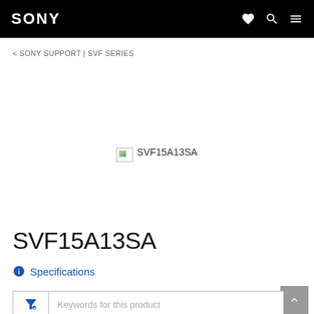SONY
< SONY SUPPORT | SVF SERIES
[Figure (photo): Broken/missing product image placeholder for SVF15A13SA]
SVF15A13SA
Specifications
Keywords for this product